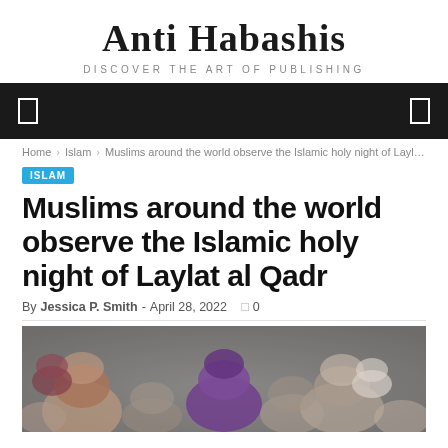Anti Habashis
DISCOVER THE ART OF PUBLISHING
navigation bar
Home › Islam › Muslims around the world observe the Islamic holy night of Laylat al Qadr
ISLAM
Muslims around the world observe the Islamic holy night of Laylat al Qadr
By Jessica P. Smith - April 28, 2022  0
[Figure (photo): Blurred crowd of women wearing hijabs, appearing to be at a religious gathering]